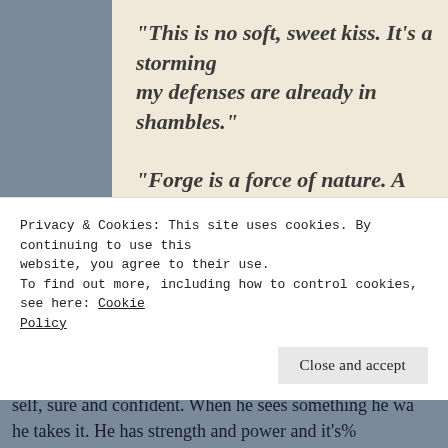“This is no soft, sweet kiss. It’s a storming my defenses are already in shambles.”
“Forge is a force of nature. A rouge wave. world and leaving it completely unrecog…
It’s books like this that make Meghan March one of my g are filled with passion, suspense and they turn my worl…
Privacy & Cookies: This site uses cookies. By continuing to use this website, you agree to their use.
To find out more, including how to control cookies, see here: Cookie Policy
Close and accept
self, sure and confident. When he sees something he wa he takes it. He has strength and power and it’s%…